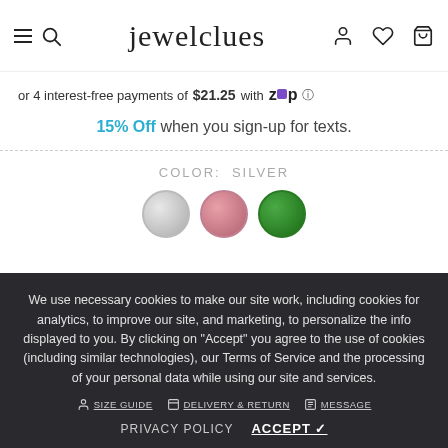jewelclues
or 4 interest-free payments of $21.25 with Zip
15% Off when you sign-up for texts.
COLOR: SILVER
[Figure (other): Three color swatches: silver, rose/pink, and green circles]
We use necessary cookies to make our site work, including cookies for analytics, to improve our site, and marketing, to personalize the info displayed to you. By clicking on "Accept" you agree to the use of cookies (including similar technologies), our Terms of Service and the processing of your personal data while using our site and services.
SIZE GUIDE   DELIVERY & RETURN   MESSAGE
PRIVACY POLICY   ACCEPT ✓
QUANTITY